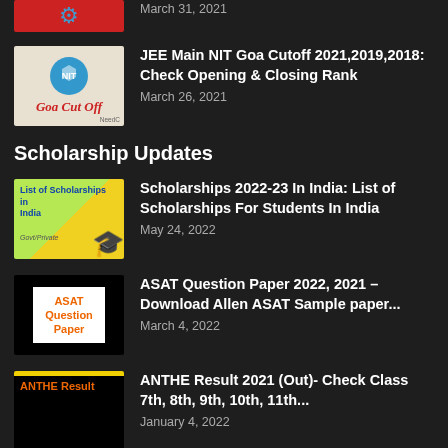[Figure (photo): Partially visible thumbnail for an article, red background with gear/logo icon and NeedC watermark]
March 31, 2021
[Figure (photo): NIT Goa Cut Off thumbnail with NIT logo on light background and red NIT text]
JEE Main NIT Goa Cutoff 2021,2019,2018: Check Opening & Closing Rank
March 26, 2021
Scholarship Updates
[Figure (photo): List of Scholarships in India thumbnail with green/yellow background and graduation cap]
Scholarships 2022-23 In India: List of Scholarships For Students In India
May 24, 2022
[Figure (photo): ASAT Question Paper thumbnail with black background and white box with orange text]
ASAT Question Paper 2022, 2021 – Download Allen ASAT Sample paper...
March 4, 2022
[Figure (photo): ANTHE Result thumbnail with black background, yellow top border and orange ANTHE Result text]
ANTHE Result 2021 (Out)- Check Class 7th, 8th, 9th, 10th, 11th...
January 4, 2022